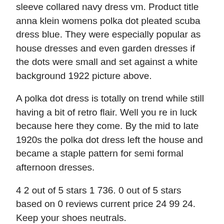sleeve collared navy dress vm. Product title anna klein womens polka dot pleated scuba dress blue. They were especially popular as house dresses and even garden dresses if the dots were small and set against a white background 1922 picture above.
A polka dot dress is totally on trend while still having a bit of retro flair. Well you re in luck because here they come. By the mid to late 1920s the polka dot dress left the house and became a staple pattern for semi formal afternoon dresses.
4 2 out of 5 stars 1 736. 0 out of 5 stars based on 0 reviews current price 24 99 24. Keep your shoes neutrals.
Maison tara smocked waist v neck short sleeve clip dot chiffon dress. Free shipping on orders over 25 shipped by amazon. For a casual polka dot dress slip on a pair of flats or sneakers for a city cool vibe.
There are 5995 blue polka dot dress for sale on etsy and the most 50 41